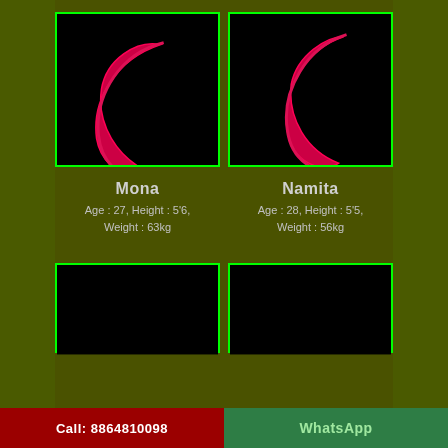[Figure (photo): Crescent moon silhouette in red/pink color on black background - profile photo for Mona]
[Figure (photo): Crescent moon silhouette in red/pink color on black background - profile photo for Namita]
Mona
Namita
Age : 27, Height : 5'6, Weight : 63kg
Age : 28, Height : 5'5, Weight : 56kg
[Figure (photo): Black image box - secondary photo for Mona]
[Figure (photo): Black image box - secondary photo for Namita]
Call: 8864810098
WhatsApp